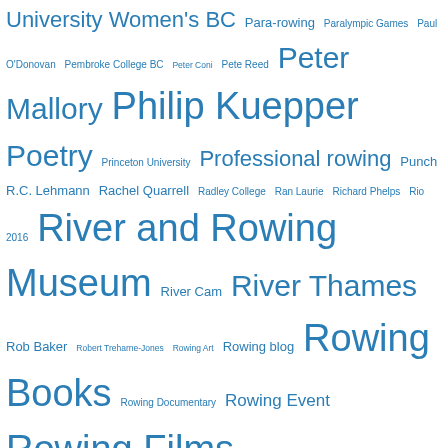University Women's BC Para-rowing Paralympic Games Paul O'Donovan Pembroke College BC Peter Coni Pete Reed Peter Mallory Philip Kuepper Poetry Princeton University Professional rowing Punch R.C. Lehmann Rachel Quarrell Radley College Ran Laurie Richard Phelps Rio 2016 River and Rowing Museum River Cam River Thames Rob Baker Robert Treharne-Jones Rowing Art Rowing blog Rowing Books Rowing Documentary Rowing Event Rowing Films Rowing Hall of Fame Rowing History Forum Rowing in Australia Rowing in Germany Rowing in New Zealand Rowing in Plays Rowing Magazines Rowing nonsense Rowing oddities Rowing Paintings Rowing Poetry Rowing Trophy Sculling Sean Bowden Steve Fairbairn Steve Gladstone Steve Redgrave Steve Trapmore Story of a Picture St Paul's School Stuart MacKenzie